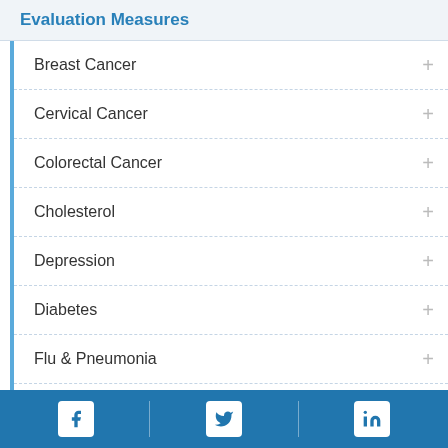Evaluation Measures
Breast Cancer
Cervical Cancer
Colorectal Cancer
Cholesterol
Depression
Diabetes
Flu & Pneumonia
Nutrition
Facebook | Twitter | LinkedIn